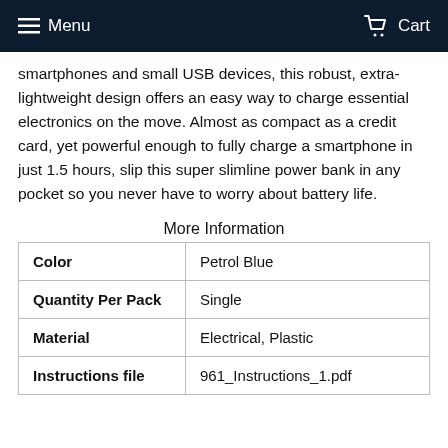Menu  Cart
smartphones and small USB devices, this robust, extra-lightweight design offers an easy way to charge essential electronics on the move. Almost as compact as a credit card, yet powerful enough to fully charge a smartphone in just 1.5 hours, slip this super slimline power bank in any pocket so you never have to worry about battery life.
More Information
| Color | Petrol Blue |
| Quantity Per Pack | Single |
| Material | Electrical, Plastic |
| Instructions file | 961_Instructions_1.pdf |